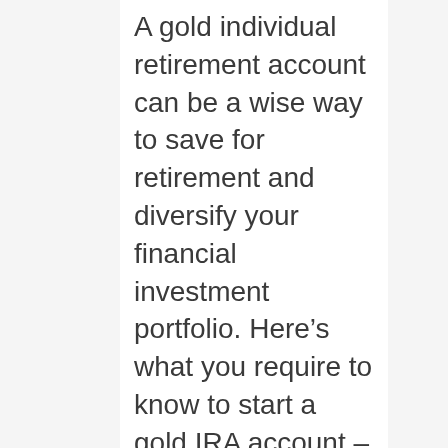A gold individual retirement account can be a wise way to save for retirement and diversify your financial investment portfolio. Here's what you require to know to start a gold IRA account – Investment With E Gold.
* We may get a recommendation charge from some of the business included in this post. This is not a monetary guidance short article. Refer to an expert for financial investment advice. (Advertisement) Buying gold is one of the very best ways to secure your cost savings and diversify your retirement portfolio. Gold has consistent